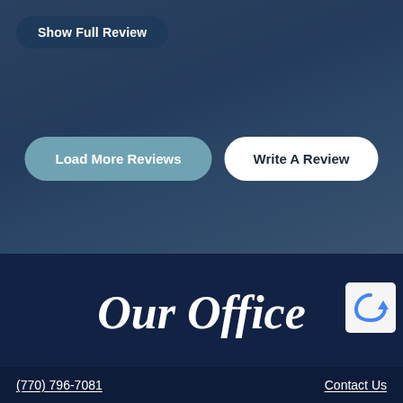[Figure (screenshot): Website screenshot showing a reviews section with a dark blue gradient background, a 'Show Full Review' button, 'Load More Reviews' and 'Write A Review' buttons, and a footer with 'Our Office' title.]
Show Full Review
Load More Reviews
Write A Review
Our Office
(770) 796-7081    Contact Us